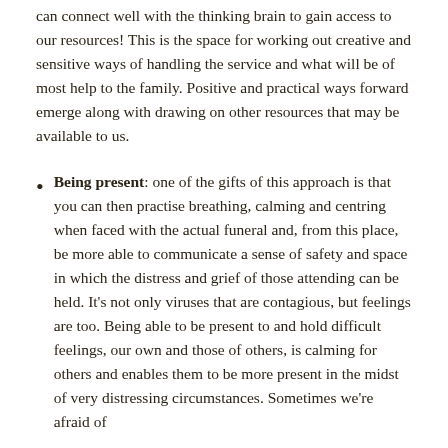can connect well with the thinking brain to gain access to our resources! This is the space for working out creative and sensitive ways of handling the service and what will be of most help to the family. Positive and practical ways forward emerge along with drawing on other resources that may be available to us.
Being present: one of the gifts of this approach is that you can then practise breathing, calming and centring when faced with the actual funeral and, from this place, be more able to communicate a sense of safety and space in which the distress and grief of those attending can be held. It's not only viruses that are contagious, but feelings are too. Being able to be present to and hold difficult feelings, our own and those of others, is calming for others and enables them to be more present in the midst of very distressing circumstances. Sometimes we're afraid of